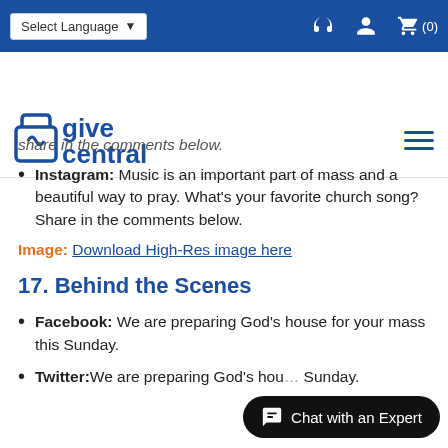Select Language | [nav icons]
[Figure (logo): GiveCentral logo with icon and hamburger menu]
share in the comments below.
Instagram: Music is an important part of mass and a beautiful way to pray. What's your favorite church song? Share in the comments below.
Image: Download High-Res image here
17. Behind the Scenes
Facebook: We are preparing God's house for your mass this Sunday.
Twitter: We are preparing God's hou... Sunday.